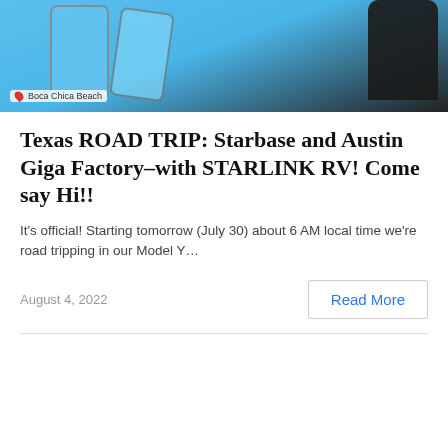[Figure (photo): A photo showing smartphones held up against a blue sky background, with a map pin overlay showing 'Boca Chica Beach' in the lower left corner. A dark-gloved hand is visible on the right side.]
Texas ROAD TRIP: Starbase and Austin Giga Factory–with STARLINK RV! Come say Hi!!
It's official! Starting tomorrow (July 30) about 6 AM local time we're road tripping in our Model Y…
August 4, 2022
Read More